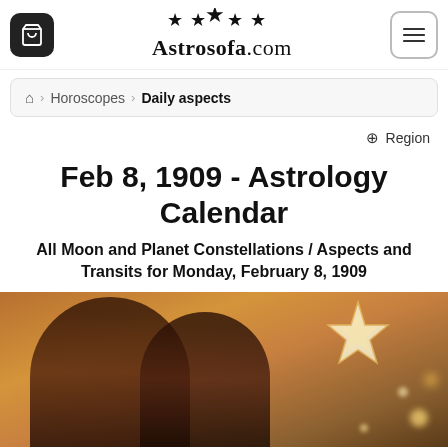Astrosofa.com
Home > Horoscopes > Daily aspects
Region
Feb 8, 1909 - Astrology Calendar
All Moon and Planet Constellations / Aspects and Transits for Monday, February 8, 1909
[Figure (photo): A smiling couple outdoors at night with bokeh lights and a decorative star lantern in the background. The man has dreadlocks and glasses, the woman is wearing a knit hat.]